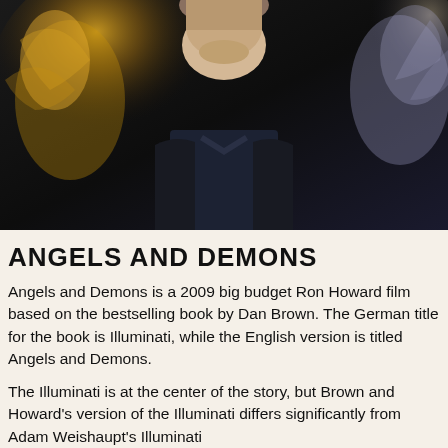[Figure (photo): Movie poster/promotional image for Angels and Demons (2009) showing a man in a dark suit in the foreground with dramatic lighting, flanked by angelic and demonic figures in the background]
ANGELS AND DEMONS
Angels and Demons is a 2009 big budget Ron Howard film based on the bestselling book by Dan Brown. The German title for the book is Illuminati, while the English version is titled Angels and Demons.
The Illuminati is at the center of the story, but Brown and Howard's version of the Illuminati differs significantly from Adam Weishaupt's Illuminati